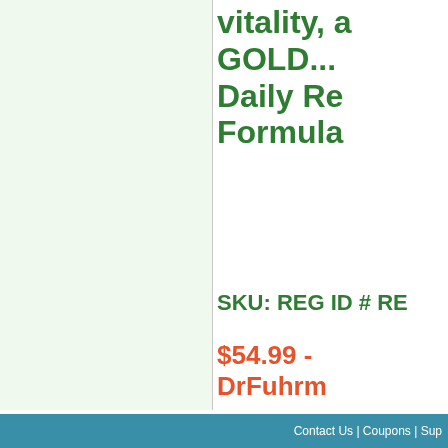[Figure (other): Light green background panel on the left side of the page, possibly containing a product image (cropped/not visible)]
vitality, a GOLD... Daily Re Formula
SKU: REG ID # RE
$54.99 - DrFuhrm
As with all supplements, these products have not be
Contact Us | Coupons | Sup